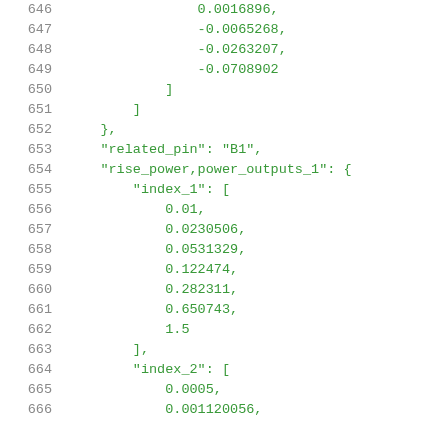Code listing lines 646-666 showing JSON data structure with numeric array values and keys: related_pin, rise_power,power_outputs_1, index_1, index_2